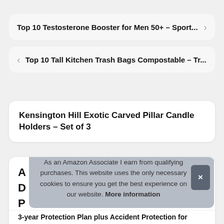Top 10 Testosterone Booster for Men 50+ – Sport...
Top 10 Tall Kitchen Trash Bags Compostable – Tr...
Kensington Hill Exotic Carved Pillar Candle Holders – Set of 3
As an Amazon Associate I earn from qualifying purchases. This website uses the only necessary cookies to ensure you get the best experience on our website. More information
3-year Protection Plan plus Accident Protection for